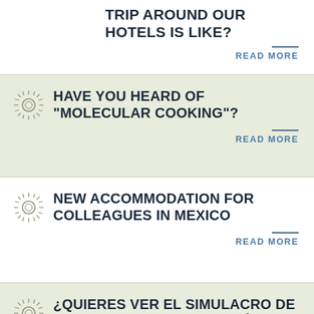TRIP AROUND OUR HOTELS IS LIKE?
READ MORE
HAVE YOU HEARD OF "MOLECULAR COOKING"?
READ MORE
NEW ACCOMMODATION FOR COLLEAGUES IN MEXICO
READ MORE
¿QUIERES VER EL SIMULACRO DE INCENDIO Y RESCATE ACUÁTICO REALIZADO EN EL HOTEL LUXURY